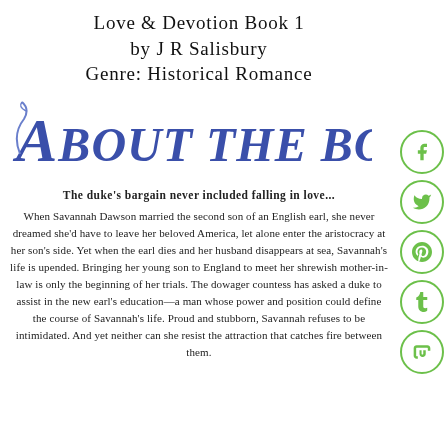Love & Devotion Book 1
by J R Salisbury
Genre: Historical Romance
[Figure (illustration): Decorative stylized text reading 'About the Book' in blue gothic/ornate lettering]
The duke's bargain never included falling in love...
When Savannah Dawson married the second son of an English earl, she never dreamed she'd have to leave her beloved America, let alone enter the aristocracy at her son's side. Yet when the earl dies and her husband disappears at sea, Savannah's life is upended. Bringing her young son to England to meet her shrewish mother-in-law is only the beginning of her trials. The dowager countess has asked a duke to assist in the new earl's education—a man whose power and position could define the course of Savannah's life. Proud and stubborn, Savannah refuses to be intimidated. And yet neither can she resist the attraction that catches fire between them.
[Figure (illustration): Five green circular social media icons on the right side: Facebook (f), Twitter (bird), Pinterest (p), Tumblr (t), StumbleUpon (su)]